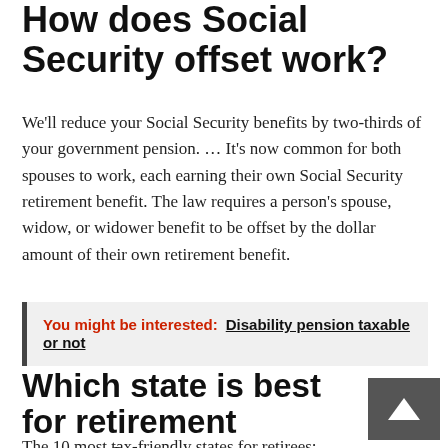How does Social Security offset work?
We'll reduce your Social Security benefits by two-thirds of your government pension. … It's now common for both spouses to work, each earning their own Social Security retirement benefit. The law requires a person's spouse, widow, or widower benefit to be offset by the dollar amount of their own retirement benefit.
You might be interested: Disability pension taxable or not
Which state is best for retirement taxes?
The 10 most tax-friendly states for retirees: